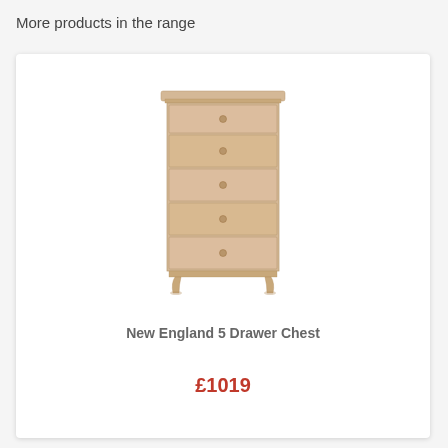More products in the range
[Figure (photo): A tall wooden chest of drawers with 5 drawers in a light oak/natural wood finish, with small round knobs on each drawer. The chest has tapered legs and a slightly flared top cornice, shown against a white background.]
New England 5 Drawer Chest
£1019